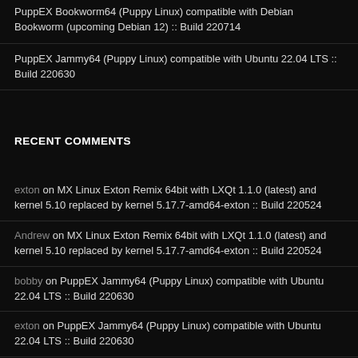PuppEX Bookworm64 (Puppy Linux) compatible with Debian Bookworm (upcoming Debian 12) :: Build 220714
PuppEX Jammy64 (Puppy Linux) compatible with Ubuntu 22.04 LTS :: Build 220630
RECENT COMMENTS
exton on MX Linux Exton Remix 64bit with LXQt 1.1.0 (latest) and kernel 5.10 replaced by kernel 5.17.7-amd64-exton :: Build 220524
Andrew on MX Linux Exton Remix 64bit with LXQt 1.1.0 (latest) and kernel 5.10 replaced by kernel 5.17.7-amd64-exton :: Build 220524
bobby on PuppEX Jammy64 (Puppy Linux) compatible with Ubuntu 22.04 LTS :: Build 220630
exton on PuppEX Jammy64 (Puppy Linux) compatible with Ubuntu 22.04 LTS :: Build 220630
bobby on PuppEX Jammy64 (Puppy Linux) compatible with Ubuntu 22.04 LTS :: Build 220630